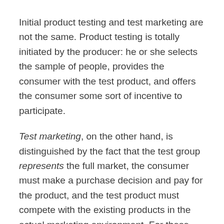Initial product testing and test marketing are not the same. Product testing is totally initiated by the producer: he or she selects the sample of people, provides the consumer with the test product, and offers the consumer some sort of incentive to participate.
Test marketing, on the other hand, is distinguished by the fact that the test group represents the full market, the consumer must make a purchase decision and pay for the product, and the test product must compete with the existing products in the actual marketing environment. For these and other reasons, a market test is an accurate simulation of the broader market and serves as a method for reducing risk. It should enhance the new product's probability of success and allow for final adjustment in the marketing mix before the